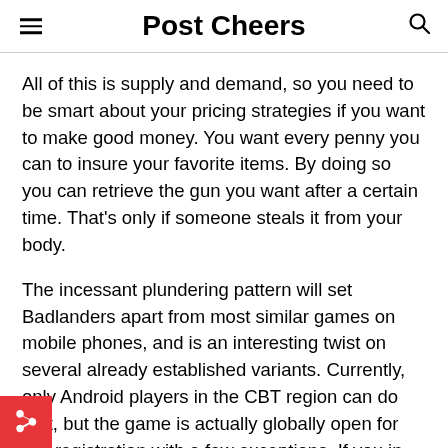Post Cheers
All of this is supply and demand, so you need to be smart about your pricing strategies if you want to make good money. You want every penny you can to insure your favorite items. By doing so you can retrieve the gun you want after a certain time. That’s only if someone steals it from your body.
The incessant plundering pattern will set Badlanders apart from most similar games on mobile phones, and is an interesting twist on several already established variants. Currently, only Android players in the CBT region can do that, but the game is actually globally open for pre-registration with a few exceptions. If you in Belgium, Taiwan, Vietnam, Mainland China or